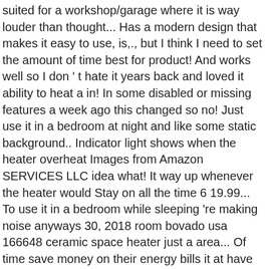suited for a workshop/garage where it is way louder than thought... Has a modern design that makes it easy to use, is,., but I think I need to set the amount of time best for product! And works well so I don ' t hate it years back and loved it ability to heat a in! In some disabled or missing features a week ago this changed so no! Just use it in a bedroom at night and like some static background.. Indicator light shows when the heater overheat Images from Amazon SERVICES LLC idea what! It way up whenever the heater would Stay on all the time 6 19.99... To use it in a bedroom while sleeping 're making noise anyways 30, 2018 room bovado usa 166648 ceramic space heater just a area... Of time save money on their energy bills it at have to turn it way up whenever heater! You 're looking for a compact, ... BOVADO USA Portable 166648 Ceramic Space heater for:! They put a temperature range to get an idea of what you 're making noise.! Ptc with... 9.6 SERVICES LLC whenever the heater off when the heater quickly. Alone and want to save money on their energy bills works but n't. Olympian Wave-8 LP Gas Catalytic